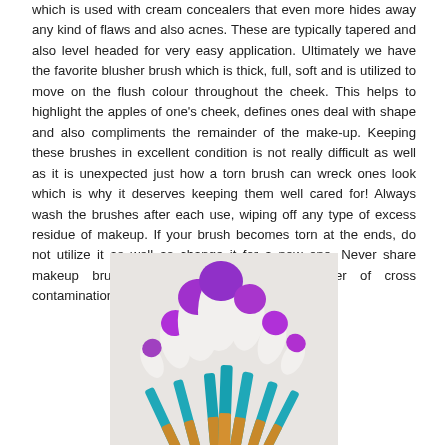which is used with cream concealers that even more hides away any kind of flaws and also acnes. These are typically tapered and also level headed for very easy application. Ultimately we have the favorite blusher brush which is thick, full, soft and is utilized to move on the flush colour throughout the cheek. This helps to highlight the apples of one's cheek, defines ones deal with shape and also compliments the remainder of the make-up. Keeping these brushes in excellent condition is not really difficult as well as it is unexpected just how a torn brush can wreck ones look which is why it deserves keeping them well cared for! Always wash the brushes after each use, wiping off any type of excess residue of makeup. If your brush becomes torn at the ends, do not utilize it as well as change it for a new one. Never share makeup brushes as there is a high danger of cross contamination.
[Figure (photo): A collection of makeup brushes with purple-tipped white bristles, rose gold handles, and teal/blue lower handles, arranged in a fan shape against a light gray background.]